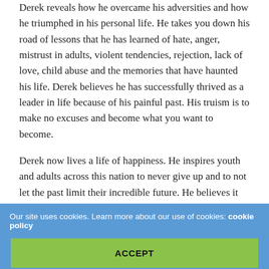Derek reveals how he overcame his adversities and how he triumphed in his personal life. He takes you down his road of lessons that he has learned of hate, anger, mistrust in adults, violent tendencies, rejection, lack of love, child abuse and the memories that have haunted his life. Derek believes he has successfully thrived as a leader in life because of his painful past. His truism is to make no excuses and become what you want to become.
Derek now lives a life of happiness. He inspires youth and adults across this nation to never give up and to not let the past limit their incredible future. He believes it all comes down to a choice and taking responsibility for your life. He is proof that you don't have to let adversity hold you down in life; you have a fascinating and inspiring destiny
Our site uses cookies. Learn more about our use of cookies: cookie policy
ACCEPT